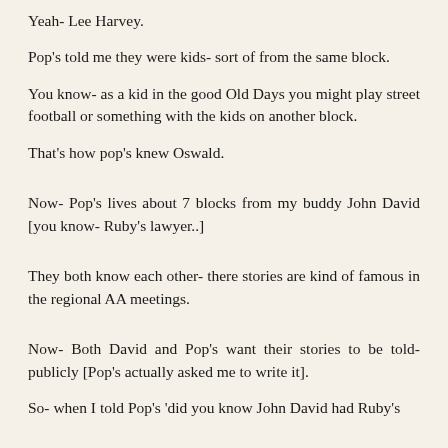Yeah- Lee Harvey.
Pop's told me they were kids- sort of from the same block.
You know- as a kid in the good Old Days you might play street football or something with the kids on another block.
That's how pop's knew Oswald.
Now- Pop's lives about 7 blocks from my buddy John David [you know- Ruby's lawyer..]
They both know each other- there stories are kind of famous in the regional AA meetings.
Now- Both David and Pop's want their stories to be told- publicly [Pop's actually asked me to write it].
So- when I told Pop's 'did you know John David had Ruby's